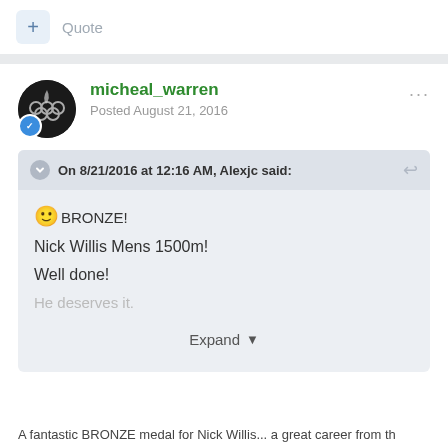+ Quote
micheal_warren
Posted August 21, 2016
On 8/21/2016 at 12:16 AM, Alexjc said:
🙂BRONZE!
Nick Willis Mens 1500m!
Well done!
He deserves it.
Expand
A fantastic BRONZE medal for Nick Willis... a great career from th